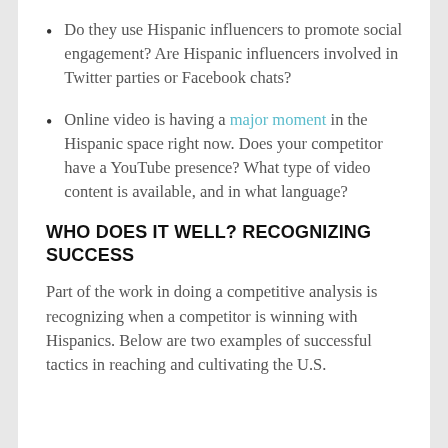Do they use Hispanic influencers to promote social engagement? Are Hispanic influencers involved in Twitter parties or Facebook chats?
Online video is having a major moment in the Hispanic space right now. Does your competitor have a YouTube presence? What type of video content is available, and in what language?
WHO DOES IT WELL? RECOGNIZING SUCCESS
Part of the work in doing a competitive analysis is recognizing when a competitor is winning with Hispanics. Below are two examples of successful tactics in reaching and cultivating the U.S.